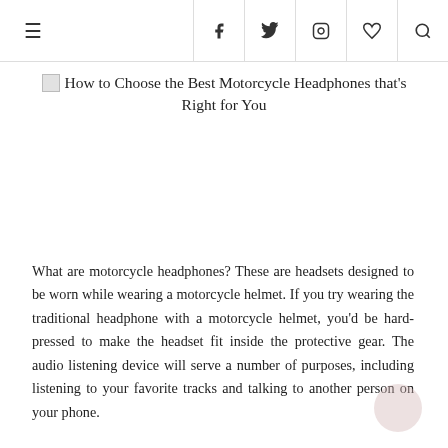≡  f  𝕥  📷  𝕡  🔍
How to Choose the Best Motorcycle Headphones that's Right for You
[Figure (other): Empty image placeholder area below the article title]
What are motorcycle headphones? These are headsets designed to be worn while wearing a motorcycle helmet. If you try wearing the traditional headphone with a motorcycle helmet, you'd be hard-pressed to make the headset fit inside the protective gear. The audio listening device will serve a number of purposes, including listening to your favorite tracks and talking to another person on your phone.